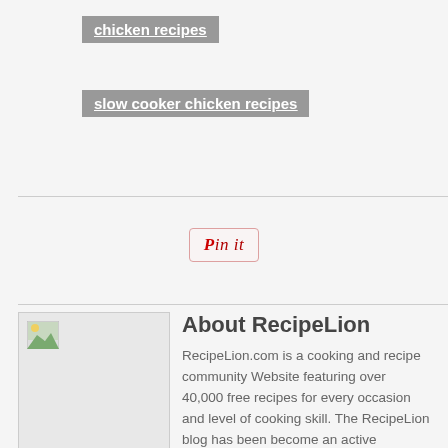chicken recipes
slow cooker chicken recipes
[Figure (other): Pin it button]
About RecipeLion
RecipeLion.com is a cooking and recipe community Website featuring over 40,000 free recipes for every occasion and level of cooking skill. The RecipeLion blog has been become an active participant in the foodie blogging community, with regular postings of recipes, cooking tips, giveaways and food news of the day. We also publish Quick & Easy Recipes, a free e-mail newsletter that goes out to over 400,000 subscribers four times a week. In addition we publish monthly free eCookbooks featuring recipes, helpful cooking tips and menu ideas. RecipeLion strives to be a go-to place for cooking enthusiasts to find new recipes, get ideas and share their thoughts.